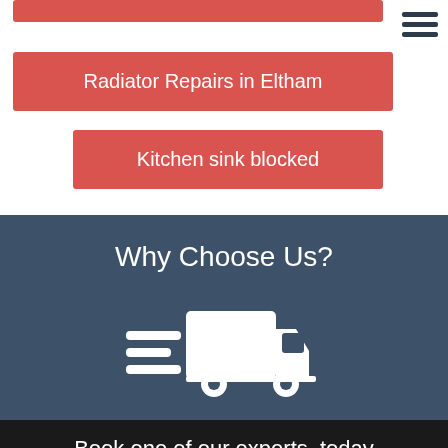[Figure (other): Hamburger menu icon (three horizontal dark lines) in top right corner]
Radiator Repairs in Eltham
Kitchen sink blocked
Why Choose Us?
[Figure (illustration): White delivery truck icon with speed lines on blue background]
Book one of our experts, today
Click To Get a Free Quote
Calls made will not be charged